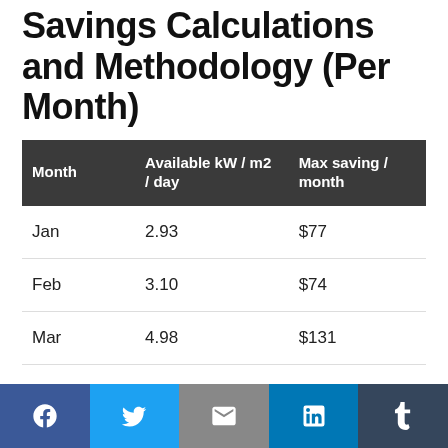Savings Calculations and Methodology (Per Month)
| Month | Available kW / m2 / day | Max saving / month |
| --- | --- | --- |
| Jan | 2.93 | $77 |
| Feb | 3.10 | $74 |
| Mar | 4.98 | $131 |